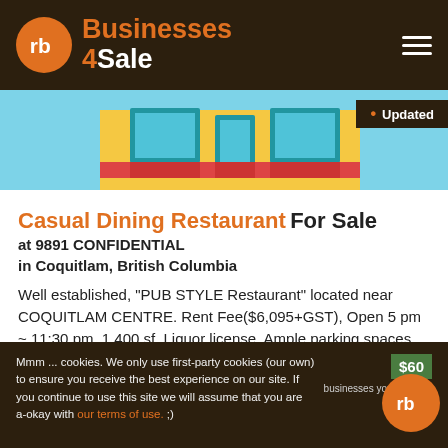Businesses 4Sale
[Figure (illustration): Partial view of cartoon storefront illustration on light blue background with Updated badge]
Casual Dining Restaurant For Sale at 9891 CONFIDENTIAL in Coquitlam, British Columbia
Well established, "PUB STYLE Restaurant" located near COQUITLAM CENTRE. Rent Fee($6,095+GST), Open 5 pm ~ 11:30 pm, 1,400 sf, Liquor license, Ample parking spaces, No commercial hood and if you want deep fryer, you have ...
4 Sale ID #34802   MLS® C8038610
Questions?
Mmm ... cookies. We only use first-party cookies (our own) to ensure you receive the best experience on our site. If you continue to use this site we will assume that you are a-okay with our terms of use. ;)